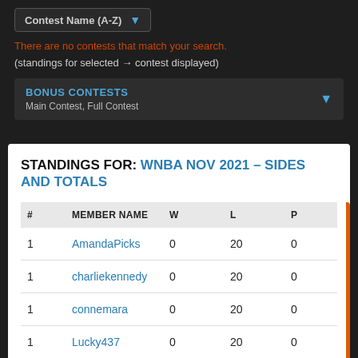Contest Name (A-Z)
There are no contests that match your search.
(standings for selected → contest displayed)
BONUS CONTESTS
Main Contest, Full Contest
STANDINGS FOR: WNBA NOV 2021 – SIDES AND TOTALS
| # | MEMBER NAME | W | L | P |
| --- | --- | --- | --- | --- |
| 1 | AmandaPicks | 0 | 20 | 0 |
| 1 | charliekennedy | 0 | 20 | 0 |
| 1 | connemara | 0 | 20 | 0 |
| 1 | Lucky437 | 0 | 20 | 0 |
| 1 | MrKingPickz | 0 | 20 | 0 |